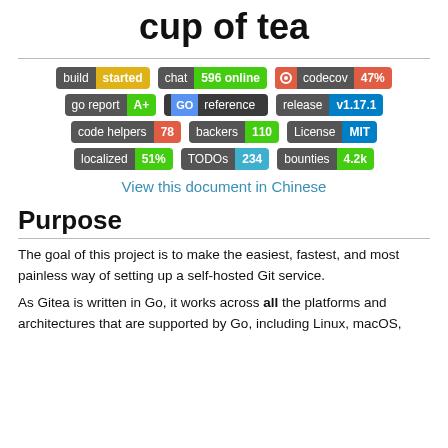cup of tea
[Figure (infographic): Badge row collection: build started (yellow), chat 596 online (green), codecov 47% (red); go report A+ (green), go reference (teal), release v1.17.1 (blue); code helpers 78 (red), backers 110 (green), License MIT (blue); localized 51% (green), TODOs 234 (teal), bounties 4.2k (green)]
View this document in Chinese
Purpose
The goal of this project is to make the easiest, fastest, and most painless way of setting up a self-hosted Git service.
As Gitea is written in Go, it works across all the platforms and architectures that are supported by Go, including Linux, macOS,